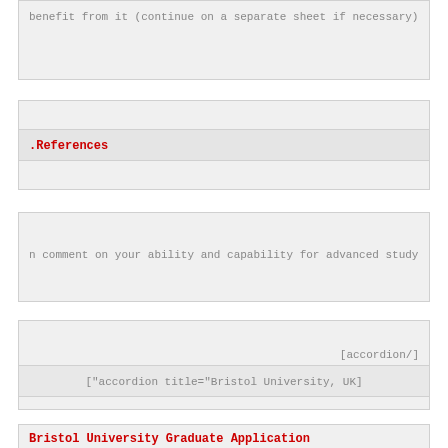benefit from it (continue on a separate sheet if necessary)
.References
n comment on your ability and capability for advanced study
[accordion/]
["accordion title="Bristol University, UK]
Bristol University Graduate Application